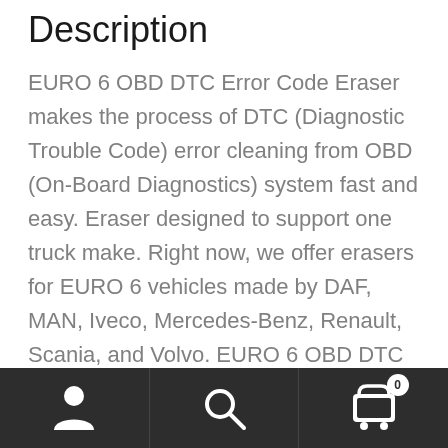Description
EURO 6 OBD DTC Error Code Eraser makes the process of DTC (Diagnostic Trouble Code) error cleaning from OBD (On-Board Diagnostics) system fast and easy. Eraser designed to support one truck make. Right now, we offer erasers for EURO 6 vehicles made by DAF, MAN, Iveco, Mercedes-Benz, Renault, Scania, and Volvo. EURO 6 OBD DTC Error Code Eraser is easy to use. Everything you need to know is just where the OBD socket of your truck is. Just connect EURO 6 OBD DTC Error Code Eraser module to the OBD socket, wait until it does its job,
[Figure (screenshot): Mobile app bottom navigation bar with dark background showing three icons: person/account icon on the left, search/magnifying glass icon in the center, and shopping cart icon with badge showing '0' on the right]